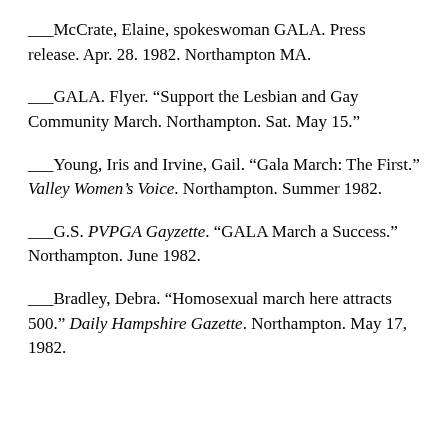___McCrate, Elaine, spokeswoman GALA. Press release. Apr. 28. 1982. Northampton MA.
___GALA. Flyer. “Support the Lesbian and Gay Community March. Northampton. Sat. May 15.”
___Young, Iris and Irvine, Gail. “Gala March: The First.” Valley Women’s Voice. Northampton. Summer 1982.
___G.S. PVPGA Gayzette. “GALA March a Success.” Northampton. June 1982.
___Bradley, Debra. “Homosexual march here attracts 500.” Daily Hampshire Gazette. Northampton. May 17, 1982.